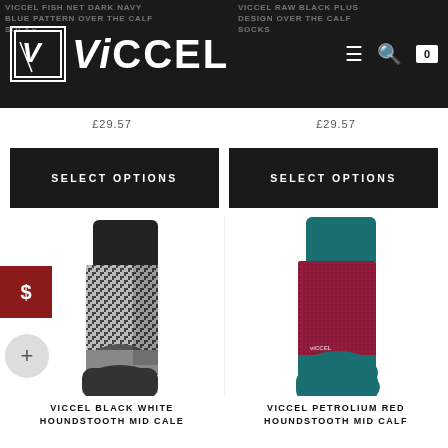VICCEL
VICCEL FISH NET DARK NAVY BLUE PATTERN OVER THE CALF SOCKS
VICCEL RAW BLACK PLUS DESIGN OVER THE CALF SOCKS
£29.57 (price left)
£29.57 (price right)
SELECT OPTIONS
SELECT OPTIONS
[Figure (photo): Houndstooth black and white mid-calf sock with black toe and heel]
[Figure (photo): Petrolium red houndstooth mid-calf sock with teal cuff, heel and toe]
VICCEL BLACK WHITE HOUNDSTOOTH MID CALF
VICCEL PETROLIUM RED HOUNDSTOOTH MID CALF